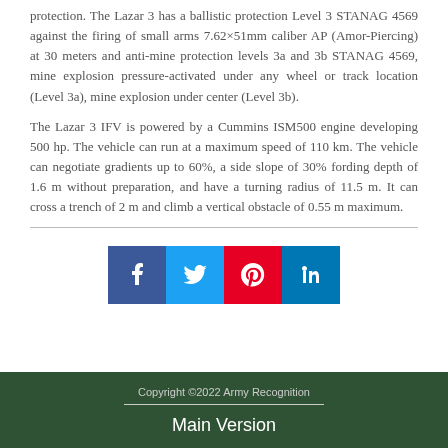protection. The Lazar 3 has a ballistic protection Level 3 STANAG 4569 against the firing of small arms 7.62×51mm caliber AP (Amor-Piercing) at 30 meters and anti-mine protection levels 3a and 3b STANAG 4569, mine explosion pressure-activated under any wheel or track location (Level 3a), mine explosion under center (Level 3b).
The Lazar 3 IFV is powered by a Cummins ISM500 engine developing 500 hp. The vehicle can run at a maximum speed of 110 km. The vehicle can negotiate gradients up to 60%, a side slope of 30% fording depth of 1.6 m without preparation, and have a turning radius of 11.5 m. It can cross a trench of 2 m and climb a vertical obstacle of 0.55 m maximum.
[Figure (other): Social media sharing icons: Facebook (blue), Twitter (light blue), Pinterest (red), LinkedIn (blue)]
Copyright ©2022 Army Recognition
Main Version